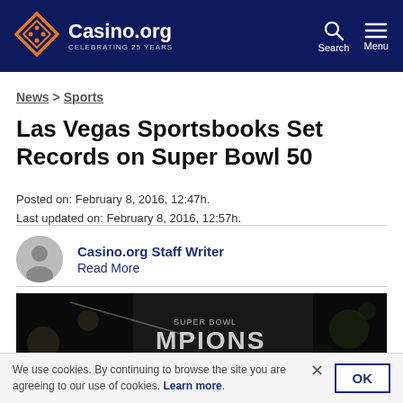Casino.org — CELEBRATING 25 YEARS
News > Sports
Las Vegas Sportsbooks Set Records on Super Bowl 50
Posted on: February 8, 2016, 12:47h.
Last updated on: February 8, 2016, 12:57h.
Casino.org Staff Writer
Read More
[Figure (photo): Photo of a Super Bowl Champions hat or trophy with 'MPIONS' text visible, dark background with bokeh lighting]
We use cookies. By continuing to browse the site you are agreeing to our use of cookies. Learn more.